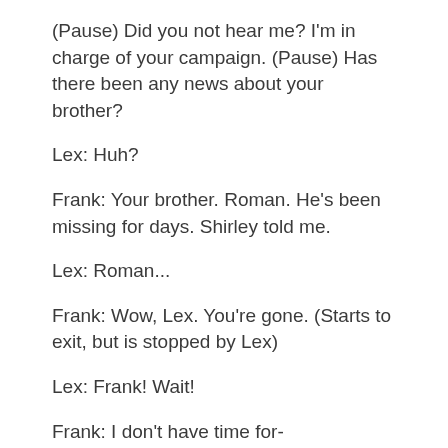(Pause) Did you not hear me? I'm in charge of your campaign. (Pause) Has there been any news about your brother?
Lex: Huh?
Frank: Your brother. Roman. He's been missing for days. Shirley told me.
Lex: Roman...
Frank: Wow, Lex. You're gone. (Starts to exit, but is stopped by Lex)
Lex: Frank! Wait!
Frank: I don't have time for-
Lex: The Woman in Black. The mascot for the Holenberg